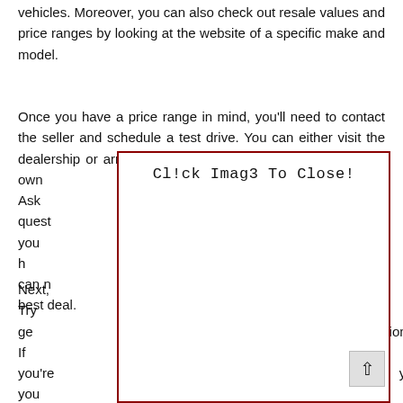vehicles. Moreover, you can also check out resale values and price ranges by looking at the website of a specific make and model.
Once you have a price range in mind, you'll need to contact the seller and schedule a test drive. You can either visit the dealership or arrange for a test drive in the comfort of your own [overlaid]. Ask questions [overlaid] you may h[overlaid], you can n[overlaid] best deal.
Next, [overlaid]. Try to ge[overlaid] ion. If you're [overlaid] y, you can a[overlaid] o ask about [overlaid] ilab[...] It's b[overlaid] e. better[overlaid] erfect
[Figure (screenshot): A white overlay box with a dark red border containing the text 'Cl!ck Imag3 To Close!' in monospace font, overlaying the main text content.]